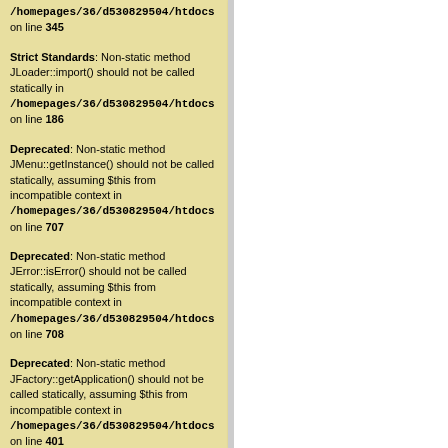/homepages/36/d530829504/htdocs on line 345
Strict Standards: Non-static method JLoader::import() should not be called statically in /homepages/36/d530829504/htdocs on line 186
Deprecated: Non-static method JMenu::getInstance() should not be called statically, assuming $this from incompatible context in /homepages/36/d530829504/htdocs on line 707
Deprecated: Non-static method JError::isError() should not be called statically, assuming $this from incompatible context in /homepages/36/d530829504/htdocs on line 708
Deprecated: Non-static method JFactory::getApplication() should not be called statically, assuming $this from incompatible context in /homepages/36/d530829504/htdocs on line 401